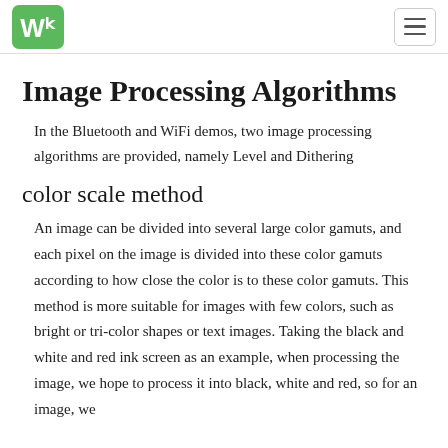Waveshare logo and navigation menu
Image Processing Algorithms
In the Bluetooth and WiFi demos, two image processing algorithms are provided, namely Level and Dithering
color scale method
An image can be divided into several large color gamuts, and each pixel on the image is divided into these color gamuts according to how close the color is to these color gamuts. This method is more suitable for images with few colors, such as bright or tri-color shapes or text images. Taking the black and white and red ink screen as an example, when processing the image, we hope to process it into black, white and red, so for an image, we